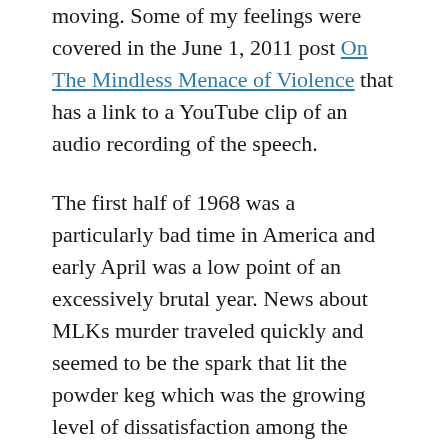moving. Some of my feelings were covered in the June 1, 2011 post On The Mindless Menace of Violence that has a link to a YouTube clip of an audio recording of the speech.
The first half of 1968 was a particularly bad time in America and early April was a low point of an excessively brutal year. News about MLKs murder traveled quickly and seemed to be the spark that lit the powder keg which was the growing level of dissatisfaction among the coming-of-age Baby Boomers and pretty much every race of people that wasn't white.
The rage which was justified, could no longer be contained and riots erupted in many U.S.